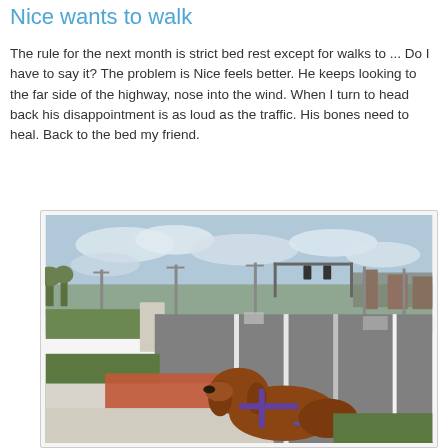Nice wants to walk
The rule for the next month is strict bed rest except for walks to ... Do I have to say it? The problem is Nice feels better. He keeps looking to the far side of the highway, nose into the wind. When I turn to head back his disappointment is as loud as the traffic. His bones need to heal. Back to the bed my friend.
[Figure (photo): A photo taken from behind a brown dog on a leash, looking out at a wide multi-lane highway with utility poles, traffic signals, and trees in the background under a partly cloudy sky. The dog is wearing a purple harness. The foreground shows a concrete sidewalk with a red/brick curb ramp area and green grass.]